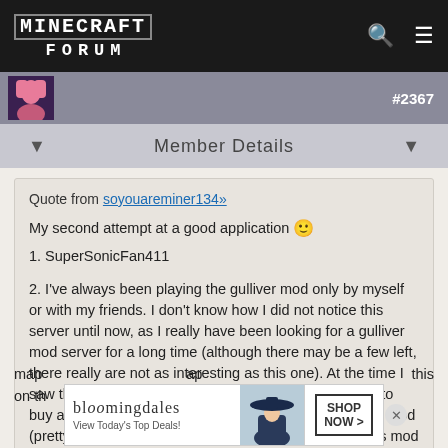Minecraft Forum
#2367
Member Details
Quote from soyouareminer134»

My second attempt at a good application 🙂
1. SuperSonicFan411

2. I've always been playing the gulliver mod only by myself or with my friends. I don't know how I did not notice this server until now, as I really have been looking for a gulliver mod server for a long time (although there may be a few left, there really are not as interesting as this one). At the time I saw this server, my account got hacked, and I decided to buy an account today, just to join this server. Why? The mod (pretty obvious point I'm making here. I want to play this mod with other people!), as well as the map on this server. This map looks amazing! When I first saw the trailer, I thought that the map ... ap on th... this
[Figure (screenshot): Bloomingdale's advertisement banner with woman in hat, SHOP NOW button]